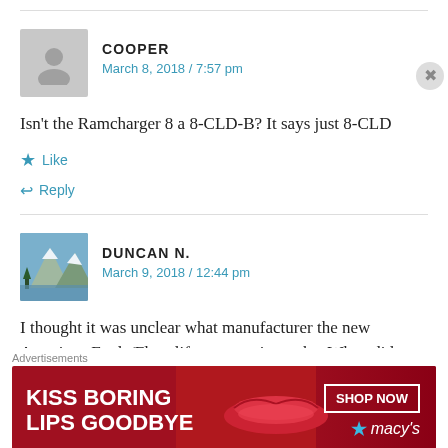COOPER
March 8, 2018 / 7:57 pm
Isn't the Ramcharger 8 a 8-CLD-B? It says just 8-CLD
Like
Reply
DUNCAN N.
March 9, 2018 / 12:44 pm
I thought it was unclear what manufacturer the new American Eagle/Flyer lifts were going to be. When did we
Advertisements
[Figure (photo): Macy's advertisement banner: 'KISS BORING LIPS GOODBYE' with SHOP NOW button and Macy's logo on red background]